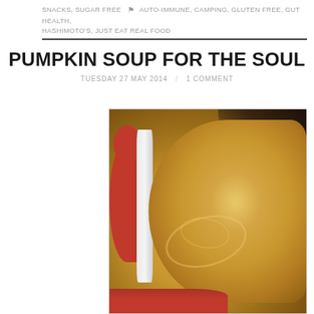SNACKS, SUGAR FREE  AUTO-IMMUNE, CAMPING, GLUTEN FREE, GUT HEALTH, HASHIMOTO'S, JUST EAT REAL FOOD
PUMPKIN SOUP FOR THE SOUL
TUESDAY 27 MAY 2014 / 1 COMMENT
[Figure (photo): A red Le Creuset-style Dutch oven pot filled with creamy golden pumpkin soup, viewed from above at an angle. The soup has a smooth, thick texture with a few swirls visible. The upper right corner shows the dark interior of the pot without soup.]